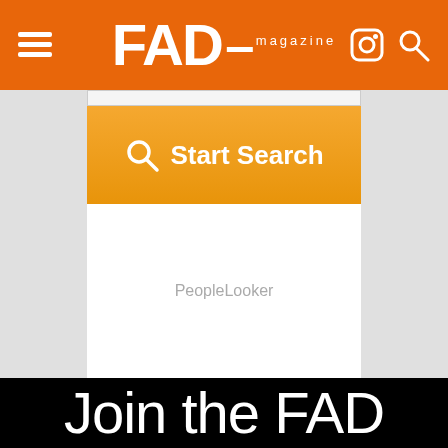FAD magazine
[Figure (screenshot): PeopleLooker search widget with orange Start Search button on grey background]
PeopleLooker
Join the FAD